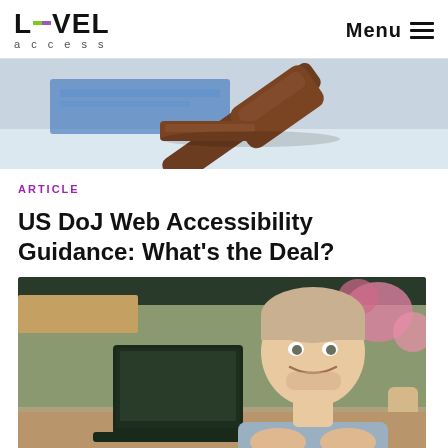L=VEL access | Menu
[Figure (photo): A wooden gavel resting on a sound block against a light blue background with a document visible]
ARTICLE
US DoJ Web Accessibility Guidance: What’s the Deal?
[Figure (photo): A young man smiling while sitting at a table with a laptop in an outdoor or semi-outdoor setting with flowers in the background]